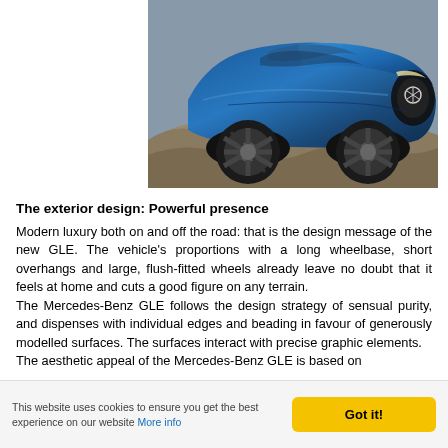[Figure (photo): A blue Mercedes-Benz GLE SUV driving on rocky off-road terrain, shown at an angle emphasizing the front grille, headlights, and large alloy wheels. Rocky ground visible beneath the vehicle.]
The exterior design: Powerful presence
Modern luxury both on and off the road: that is the design message of the new GLE. The vehicle's proportions with a long wheelbase, short overhangs and large, flush-fitted wheels already leave no doubt that it feels at home and cuts a good figure on any terrain.
The Mercedes-Benz GLE follows the design strategy of sensual purity, and dispenses with individual edges and beading in favour of generously modelled surfaces. The surfaces interact with precise graphic elements.
The aesthetic appeal of the Mercedes-Benz GLE is based on
This website uses cookies to ensure you get the best experience on our website More info